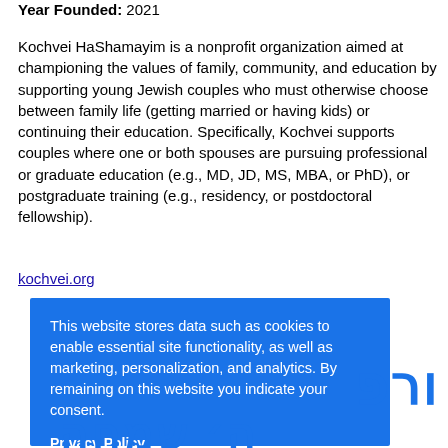Year Founded: 2021
Kochvei HaShamayim is a nonprofit organization aimed at championing the values of family, community, and education by supporting young Jewish couples who must otherwise choose between family life (getting married or having kids) or continuing their education. Specifically, Kochvei supports couples where one or both spouses are pursuing professional or graduate education (e.g., MD, JD, MS, MBA, or PhD), or postgraduate training (e.g., residency, or postdoctoral fellowship).
kochvei.org
This website stores data such as cookies to enable essential site functionality, as well as marketing, personalization, and analytics. By remaining on this website you indicate your consent.
Privacy Policy